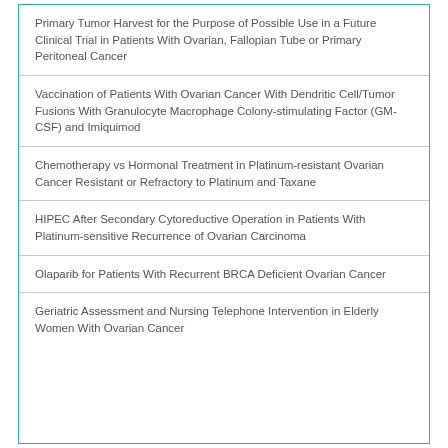Primary Tumor Harvest for the Purpose of Possible Use in a Future Clinical Trial in Patients With Ovarian, Fallopian Tube or Primary Peritoneal Cancer
Vaccination of Patients With Ovarian Cancer With Dendritic Cell/Tumor Fusions With Granulocyte Macrophage Colony-stimulating Factor (GM-CSF) and Imiquimod
Chemotherapy vs Hormonal Treatment in Platinum-resistant Ovarian Cancer Resistant or Refractory to Platinum and Taxane
HIPEC After Secondary Cytoreductive Operation in Patients With Platinum-sensitive Recurrence of Ovarian Carcinoma
Olaparib for Patients With Recurrent BRCA Deficient Ovarian Cancer
Geriatric Assessment and Nursing Telephone Intervention in Elderly Women With Ovarian Cancer